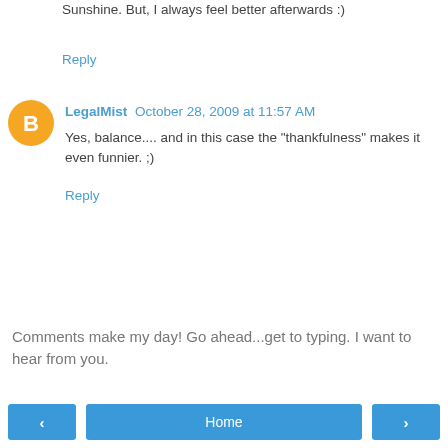Sunshine. But, I always feel better afterwards :)
Reply
LegalMist  October 28, 2009 at 11:57 AM
Yes, balance.... and in this case the "thankfulness" makes it even funnier. ;)
Reply
Comments make my day! Go ahead...get to typing. I want to hear from you.
‹
Home
›